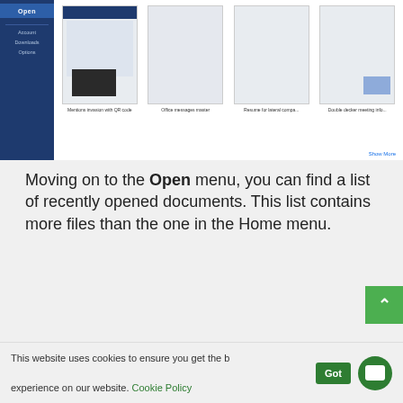[Figure (screenshot): Screenshot of Microsoft Word Open menu showing recently opened documents as thumbnails with titles: 'Mentions invasion with QR code', 'Office messages master', 'Resume for lateral compa...', 'Double decker meeting info...']
Moving on to the Open menu, you can find a list of recently opened documents. This list contains more files than the one in the Home menu.
[Figure (screenshot): Screenshot of Microsoft Word Open dialog showing left sidebar with Word, Home, New, Open navigation items, and main panel with Recent, Shared with Me, OneDrive - Personal, This PC, Add a Place, Browse options, and right panel showing document list with Pinned and Older sections]
This website uses cookies to ensure you get the best experience on our website. Cookie Policy